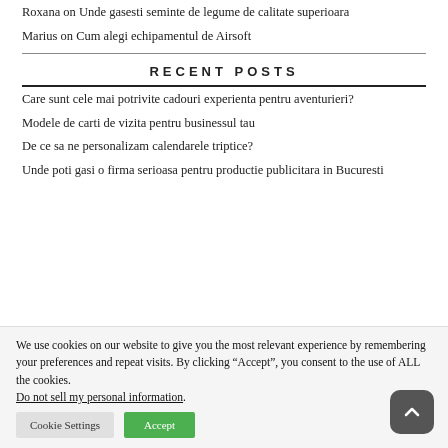Roxana on Unde gasesti seminte de legume de calitate superioara
Marius on Cum alegi echipamentul de Airsoft
RECENT POSTS
Care sunt cele mai potrivite cadouri experienta pentru aventurieri?
Modele de carti de vizita pentru businessul tau
De ce sa ne personalizam calendarele triptice?
Unde poti gasi o firma serioasa pentru productie publicitara in Bucuresti
We use cookies on our website to give you the most relevant experience by remembering your preferences and repeat visits. By clicking “Accept”, you consent to the use of ALL the cookies. Do not sell my personal information.